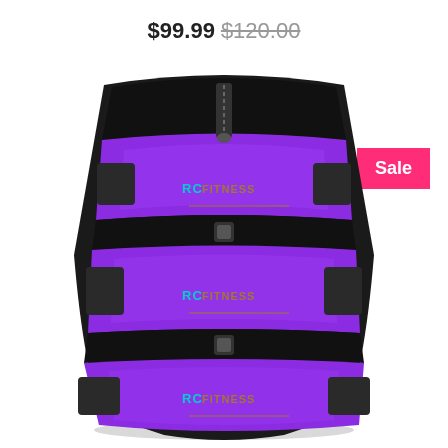$99.99 $120.00
Sale
[Figure (photo): RC Fitness purple and black waist trainer/corset with three velcro straps, each panel labeled with RC Fitness branding in teal and gold text. The product is a neoprene waist cincher with a zipper at top center.]